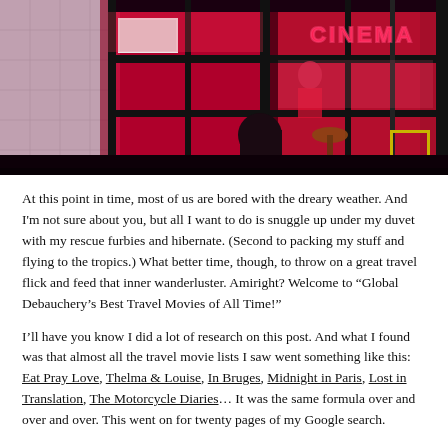[Figure (photo): Cinema storefront at night with red neon lighting. A person sits at a table outside. A 'CINEMA' neon sign is visible in the upper right. Red light floods the interior visible through large glass windows. Yellow chairs are visible outside.]
At this point in time, most of us are bored with the dreary weather. And I'm not sure about you, but all I want to do is snuggle up under my duvet with my rescue furbies and hibernate. (Second to packing my stuff and flying to the tropics.) What better time, though, to throw on a great travel flick and feed that inner wanderluster. Amiright? Welcome to “Global Debauchery’s Best Travel Movies of All Time!”
I'll have you know I did a lot of research on this post. And what I found was that almost all the travel movie lists I saw went something like this: Eat Pray Love, Thelma & Louise, In Bruges, Midnight in Paris, Lost in Translation, The Motorcycle Diaries... It was the same formula over and over and over. This went on for twenty pages of my Google search.